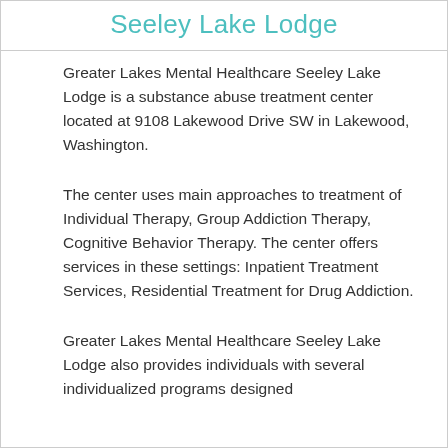Seeley Lake Lodge
Greater Lakes Mental Healthcare Seeley Lake Lodge is a substance abuse treatment center located at 9108 Lakewood Drive SW in Lakewood, Washington.
The center uses main approaches to treatment of Individual Therapy, Group Addiction Therapy, Cognitive Behavior Therapy. The center offers services in these settings: Inpatient Treatment Services, Residential Treatment for Drug Addiction.
Greater Lakes Mental Healthcare Seeley Lake Lodge also provides individuals with several individualized programs designed